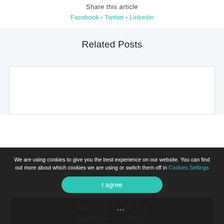Share this article
Facebook - Twitter - Linkedin
Related Posts
[Figure (other): White card placeholder for related post image]
We are using cookies to give you the best experience on our website. You can find out more about which cookies we are using or switch them off in Cookies Settings
I agree
Abusing S... ge for privilege escalation